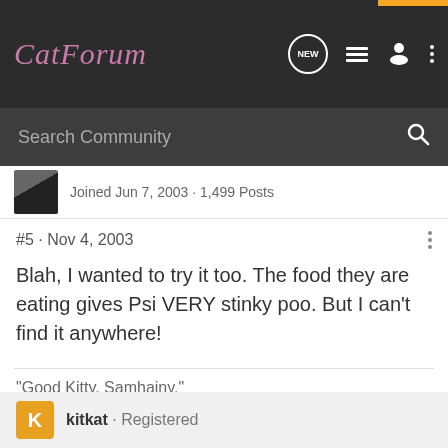CatForum
Joined Jun 7, 2003 · 1,499 Posts
#5 · Nov 4, 2003
Blah, I wanted to try it too. The food they are eating gives Psi VERY stinky poo. But I can't find it anywhere!
"Good Kitty, Samhainy."
kitkat · Registered